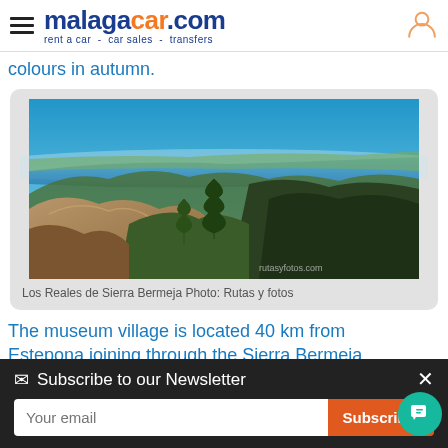malagacar.com — rent a car - car sales - transfers
colours in autumn.
[Figure (photo): Aerial panoramic view of Los Reales de Sierra Bermeja showing mountains with pine trees and Mediterranean coastline and sea in background under blue sky]
Los Reales de Sierra Bermeja Photo: Rutas y fotos
The museum village is located 40 km from Estepona joining through the Sierra Bermeja...